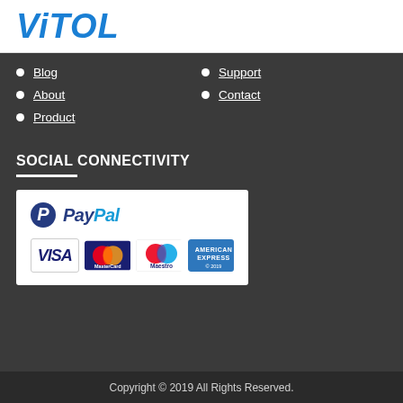[Figure (logo): Vitol company logo in blue italic bold text]
Blog
Support
About
Contact
Product
SOCIAL CONNECTIVITY
[Figure (infographic): Payment methods panel showing PayPal logo and card logos: VISA, MasterCard, Maestro, American Express]
Copyright © 2019 All Rights Reserved.